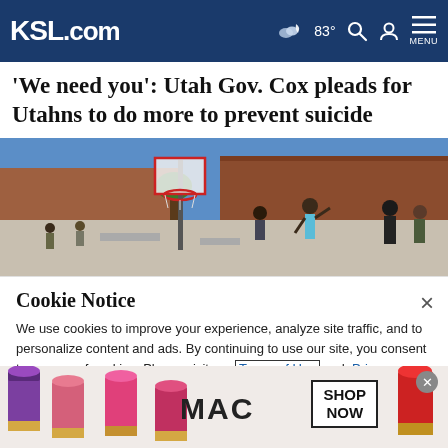KSL.com — 83° MENU
'We need you': Utah Gov. Cox pleads for Utahns to do more to prevent suicide
[Figure (photo): Outdoor school basketball court with students playing basketball, a hoop visible against a blue sky, and a brick building in the background]
Cookie Notice
We use cookies to improve your experience, analyze site traffic, and to personalize content and ads. By continuing to use our site, you consent to our use of cookies. Please visit our Terms of Use and Privacy Policy for more information
[Figure (photo): MAC Cosmetics advertisement showing lipsticks in purple, pink, and red colors with MAC logo and SHOP NOW button]